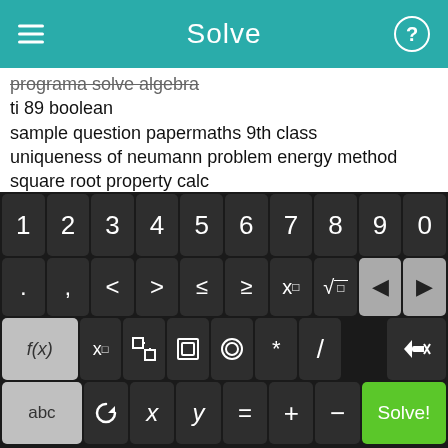Solve
programa solve algebra
ti 89 boolean
sample question papermaths 9th class
uniqueness of neumann problem energy method
square root property calc
business algebraic formula
download freeware software t-89 for computer
converting fractions to simplest form
practice tests pre algebra method
+fomula to find square feet
binomial probability formula using a ti 84 plus graphing calculator
[Figure (screenshot): Mobile calculator keyboard with number keys 1-9,0, math symbols (<,>,≤,≥,x^n,√), function keys f(x), x subscript, fraction, absolute value, parentheses, multiply, divide, backspace, and bottom row with abc, rotation, x, y, =, +, -, Solve! button]